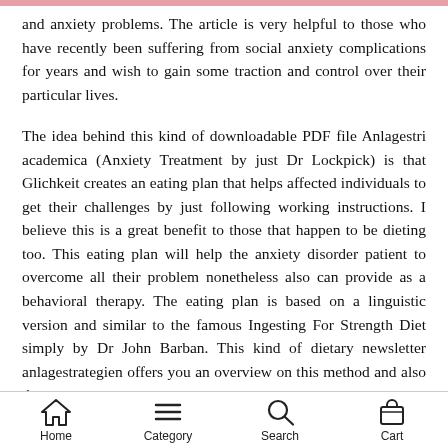and anxiety problems. The article is very helpful to those who have recently been suffering from social anxiety complications for years and wish to gain some traction and control over their particular lives.
The idea behind this kind of downloadable PDF file Anlagestri academica (Anxiety Treatment by just Dr Lockpick) is that Glichkeit creates an eating plan that helps affected individuals to get their challenges by just following working instructions. I believe this is a great benefit to those that happen to be dieting too. This eating plan will help the anxiety disorder patient to overcome all their problem nonetheless also can provide as a behavioral therapy. The eating plan is based on a linguistic version and similar to the famous Ingesting For Strength Diet simply by Dr John Barban. This kind of dietary newsletter anlagestrategien offers you an overview on this method and also the
Home  Category  Search  Cart